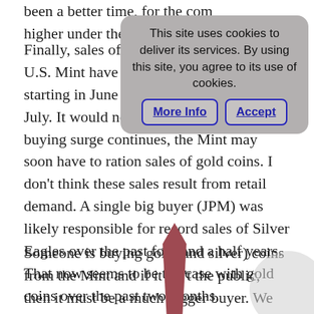been a better time, for the com... higher under the cover of phy...
[Figure (screenshot): Cookie consent banner with text 'This site uses cookies to deliver its services. By using this site, you agree to its use of cookies.' and two buttons: 'More Info' and 'Accept']
Finally, sales of Gold Eagles at the U.S. Mint have exploded to the... starting in June and continuing through July. It would not surprise me that if the buying surge continues, the Mint may soon have to ration sales of gold coins. I don't think these sales result from retail demand. A single big buyer (JPM) was likely responsible for record sales of Silver Eagles over the past four and a half years. That now seems to be the case with gold coins over the past two months.
Someone is buying gold (and silver) coins from the Mint and if it isn't the public, then it must be a much bigger buyer. We have all these bullish factors on top of a record managed-money short position. That's another way of